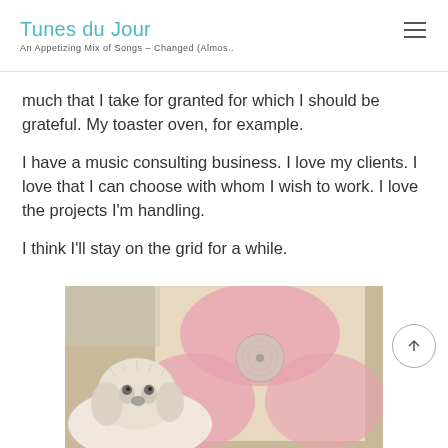Tunes du Jour
An Appetizing Mix of Songs - Changed (Almos..
much that I take for granted for which I should be grateful. My toaster oven, for example.
I have a music consulting business. I love my clients. I love that I can choose with whom I wish to work. I love the projects I'm handling.
I think I'll stay on the grid for a while.
[Figure (photo): A small white fluffy dog sitting next to a vinyl record album with a pink circular design on the cover, on a carpeted floor.]